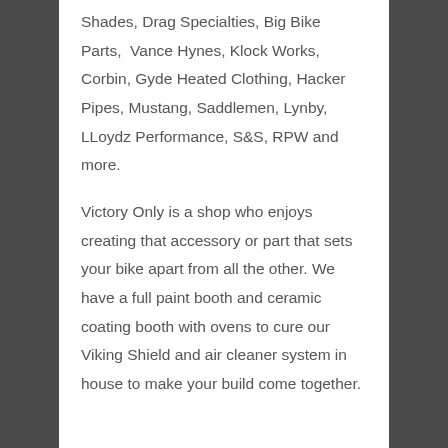Shades, Drag Specialties, Big Bike Parts,  Vance Hynes, Klock Works, Corbin, Gyde Heated Clothing, Hacker Pipes, Mustang, Saddlemen, Lynby, LLoydz Performance, S&S, RPW and more.
Victory Only is a shop who enjoys creating that accessory or part that sets your bike apart from all the other. We have a full paint booth and ceramic coating booth with ovens to cure our Viking Shield and air cleaner system in house to make your build come together.